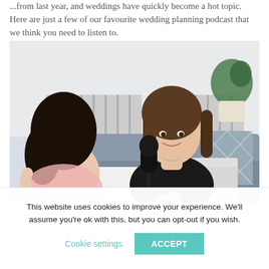...from last year, and weddings have quickly become a hot topic. Here are just a few of our favourite wedding planning podcast that we think you need to listen to.
[Figure (photo): Two women sitting at a table with a microphone between them, appearing to record a podcast. One woman faces away from the camera with dark curly hair. The other faces forward smiling, with long brown hair, wearing a black top. Behind them is a grey couch with decorative pillows and a potted plant in a bright room.]
This website uses cookies to improve your experience. We'll assume you're ok with this, but you can opt-out if you wish.
Cookie settings   ACCEPT